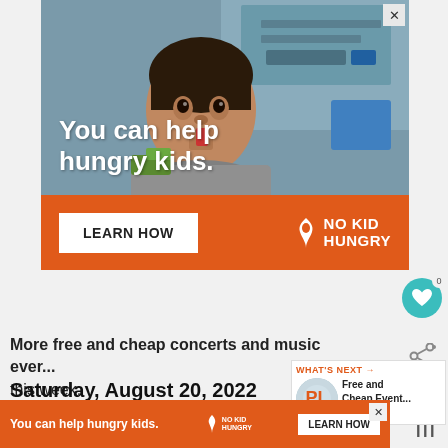[Figure (photo): No Kid Hungry advertisement featuring a young child in a classroom with text 'You can help hungry kids.' overlaid on the image, an orange bottom bar with 'LEARN HOW' button and No Kid Hungry logo]
More free and cheap concerts and music events this week:
Saturday, August 20, 2022
Downtown Palm Beach Gardens free summer
[Figure (screenshot): What's Next widget showing 'Free and Cheap Event...' article thumbnail]
[Figure (screenshot): Sticky bottom ad: 'You can help hungry kids.' No Kid Hungry LEARN HOW button]